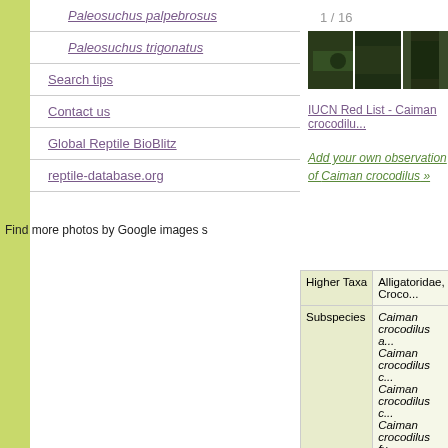Paleosuchus palpebrosus
Paleosuchus trigonatus
Search tips
Contact us
Global Reptile BioBlitz
reptile-database.org
1 / 16
[Figure (photo): Three thumbnail photos of Caiman crocodilus]
IUCN Red List - Caiman crocodilu...
Add your own observation of Caiman crocodilus »
Find more photos by Google images s
|  |  |
| --- | --- |
| Higher Taxa | Alligatoridae, Croco... |
| Subspecies | Caiman crocodilus a...
Caiman crocodilus c...
Caiman crocodilus c...
Caiman crocodilus fu... |
| Common Names | E: Common caiman,
G: Brillenkaiman
E: Rio Apaporis Cain... |